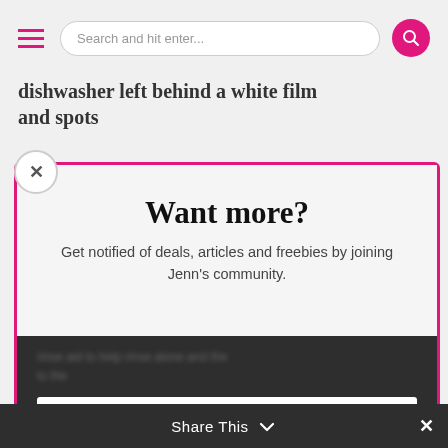Search and hit enter...
dishwasher left behind a white film and spots
Want more?
Get notified of deals, articles and freebies by joining Jenn's community.
Email
Join Now
I have read and agree to this site Privacy and Cookie Policy.
Share This